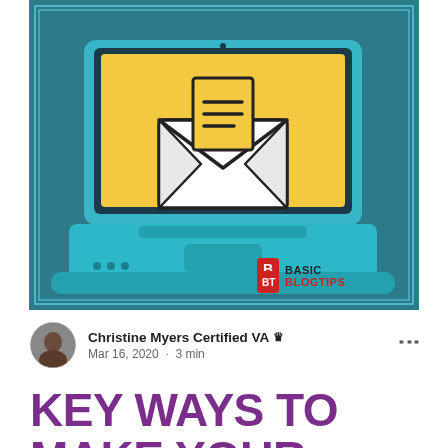[Figure (illustration): Illustration of a teal laptop with a yellow screen displaying an open envelope with a document inside, on a teal background with a double border. BasicBlogTips logo in the bottom right corner.]
Christine Myers Certified VA 👑
Mar 16, 2020 · 3 min
KEY WAYS TO MAKE YOUR